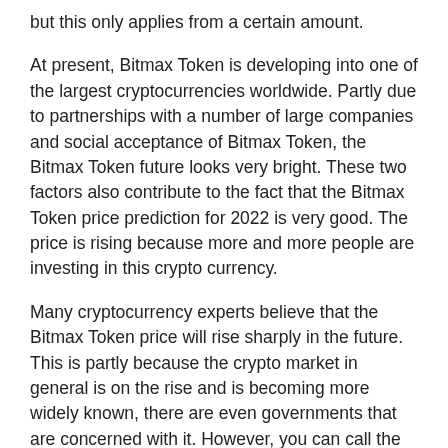but this only applies from a certain amount.
At present, Bitmax Token is developing into one of the largest cryptocurrencies worldwide. Partly due to partnerships with a number of large companies and social acceptance of Bitmax Token, the Bitmax Token future looks very bright. These two factors also contribute to the fact that the Bitmax Token price prediction for 2022 is very good. The price is rising because more and more people are investing in this crypto currency.
Many cryptocurrency experts believe that the Bitmax Token price will rise sharply in the future. This is partly because the crypto market in general is on the rise and is becoming more widely known, there are even governments that are concerned with it. However, you can call the crypto market highly volatile. Large price increases and price decreases can take place at short notice.